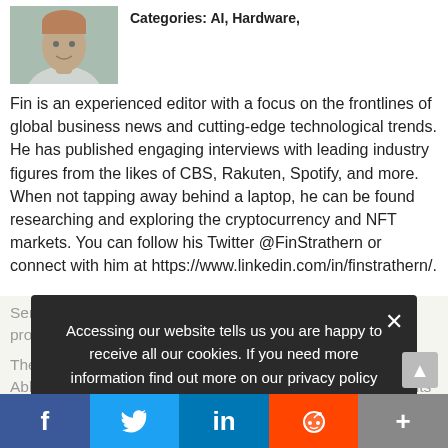Categories: AI, Hardware,
[Figure (photo): Headshot of Fin Strathern, a young man with short hair wearing a white shirt]
Fin is an experienced editor with a focus on the frontlines of global business news and cutting-edge technological trends. He has published engaging interviews with leading industry figures from the likes of CBS, Rakuten, Spotify, and more. When not tapping away behind a laptop, he can be found researching and exploring the cryptocurrency and NFT markets. You can follow his Twitter @FinStrathern or connect with him at https://www.linkedin.com/in/finstrathern/.
Semiconductor developer MemryX. which designs AI processing... customer sampling...
The MX3 was created with ease-of-use and efficiency in mind. Able to achieve opti... ance within minutes, MemryX hopes its accelera... ve companies mo...
Accessing our website tells us you are happy to receive all our cookies. If you need more information find out more on our privacy policy page.
Privacy Preferences